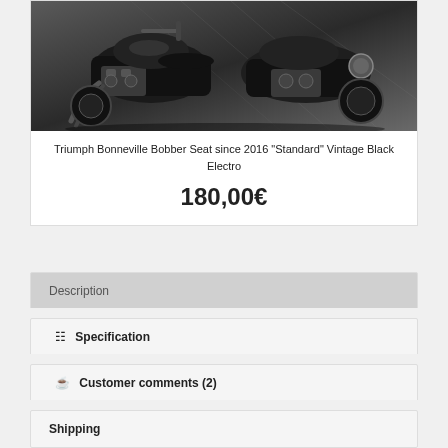[Figure (photo): Black and white photograph of two motorcycles (Triumph Bonneville Bobber style) parked closely together, showing engine and tank details]
Triumph Bonneville Bobber Seat since 2016 "Standard" Vintage Black Electro
180,00€
Description
Specification
Customer comments (2)
Shipping